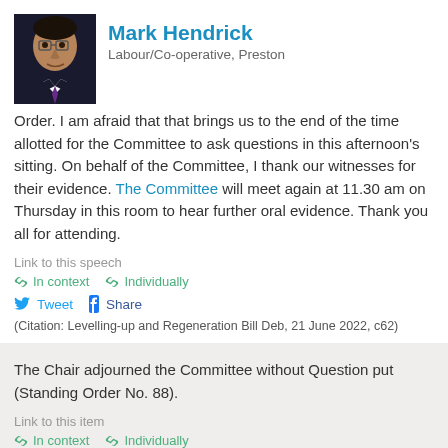Mark Hendrick
Labour/Co-operative, Preston
Order. I am afraid that that brings us to the end of the time allotted for the Committee to ask questions in this afternoon's sitting. On behalf of the Committee, I thank our witnesses for their evidence. The Committee will meet again at 11.30 am on Thursday in this room to hear further oral evidence. Thank you all for attending.
Link to this speech
🔗 In context  🔗 Individually
Tweet  Share
(Citation: Levelling-up and Regeneration Bill Deb, 21 June 2022, c62)
The Chair adjourned the Committee without Question put (Standing Order No. 88).
Link to this item
🔗 In context  🔗 Individually